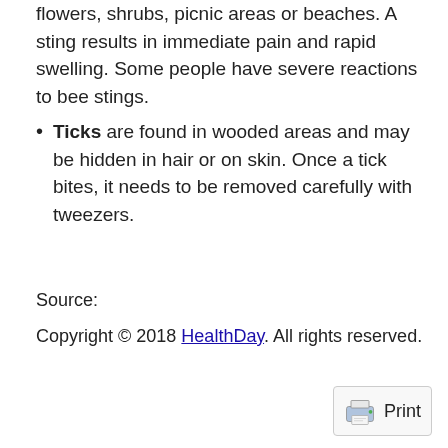flowers, shrubs, picnic areas or beaches. A sting results in immediate pain and rapid swelling. Some people have severe reactions to bee stings.
Ticks are found in wooded areas and may be hidden in hair or on skin. Once a tick bites, it needs to be removed carefully with tweezers.
Source:
Copyright © 2018 HealthDay. All rights reserved.